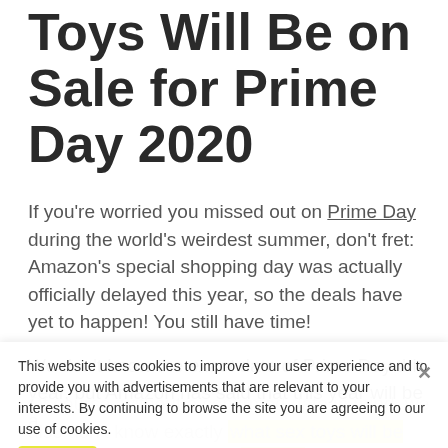Toys Will Be on Sale for Prime Day 2020
If you're worried you missed out on Prime Day during the world's weirdest summer, don't fret: Amazon's special shopping day was actually officially delayed this year, so the deals have yet to happen! You still have time!
We don't know the exact date of Prime Day this year, but Amazon has said that this year will be a... Tech Radar reports.
Of course, without a confirmed date in mind, we also don't know exactly what sex toys will be on sale this year, though we can guess (or hopefully speak into existence) based on some deals
This website uses cookies to improve your user experience and to provide you with advertisements that are relevant to your interests. By continuing to browse the site you are agreeing to our use of cookies.